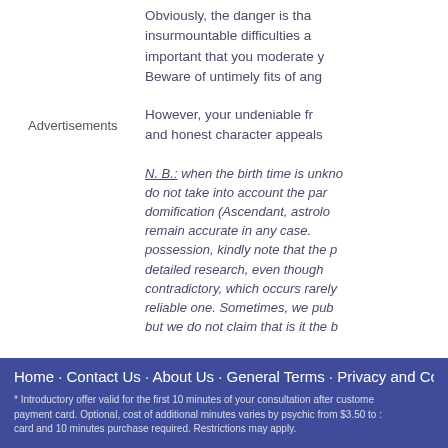Advertisements
Obviously, the danger is that insurmountable difficulties a important that you moderate y Beware of untimely fits of ang
However, your undeniable fr and honest character appeals
N. B.: when the birth time is unkno do not take into account the par domification (Ascendant, astroloc remain accurate in any case. possession, kindly note that the pa detailed research, even though contradictory, which occurs rarely reliable one. Sometimes, we pub but we do not claim that is it the b
Home · Contact Us · About Us · General Terms · Privacy and Confider
* Introductory offer valid for the first 10 minutes of your consultation after custome payment card. Optional, cost of additional minutes varies by psychic from $3.50 to card and 10 minutes purchase required. Restrictions may apply.